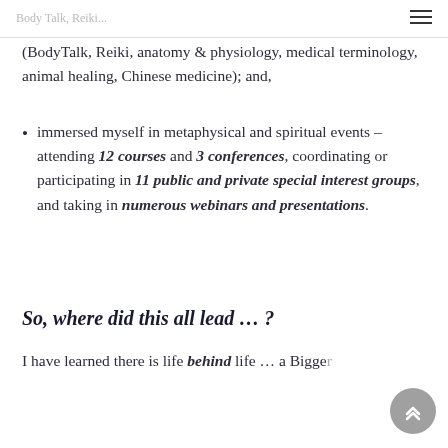Body Talk, Reiki...
(BodyTalk, Reiki, anatomy & physiology, medical terminology, animal healing, Chinese medicine); and,
immersed myself in metaphysical and spiritual events – attending 12 courses and 3 conferences, coordinating or participating in 11 public and private special interest groups, and taking in numerous webinars and presentations.
So, where did this all lead … ?
I have learned there is life behind life … a Bigger